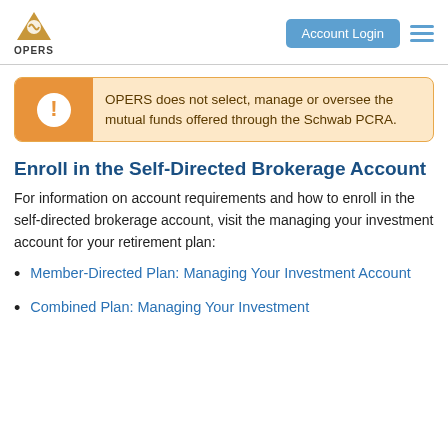OPERS | Account Login
OPERS does not select, manage or oversee the mutual funds offered through the Schwab PCRA.
Enroll in the Self-Directed Brokerage Account
For information on account requirements and how to enroll in the self-directed brokerage account, visit the managing your investment account for your retirement plan:
Member-Directed Plan: Managing Your Investment Account
Combined Plan: Managing Your Investment